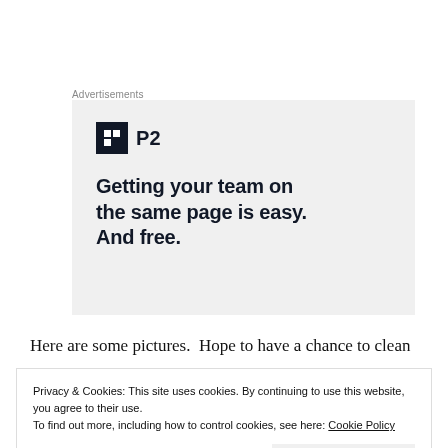Advertisements
[Figure (illustration): P2 advertisement banner with logo and headline: Getting your team on the same page is easy. And free.]
Here are some pictures.  Hope to have a chance to clean
Privacy & Cookies: This site uses cookies. By continuing to use this website, you agree to their use.
To find out more, including how to control cookies, see here: Cookie Policy
Close and accept